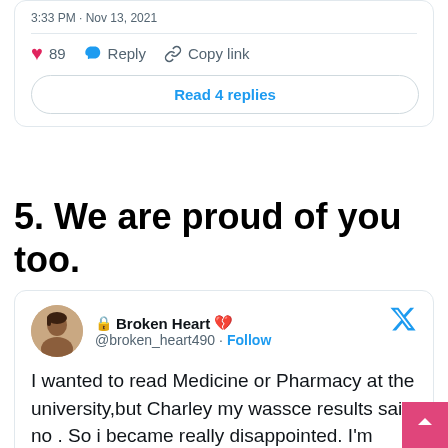3:33 PM · Nov 13, 2021
89  Reply  Copy link
Read 4 replies
5. We are proud of you too.
Broken Heart 💔 @broken_heart490 · Follow
I wanted to read Medicine or Pharmacy at the university,but Charley my wassce results said no . So i became really disappointed. I'm reading Mathematics now my second dream .I am part of best